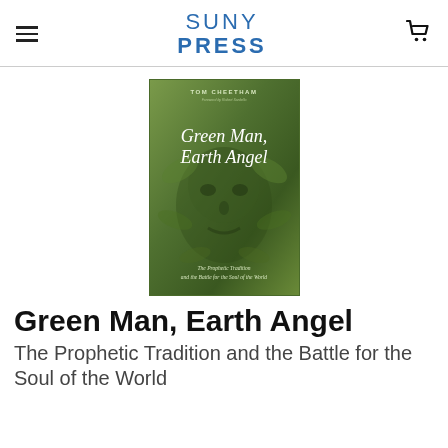SUNY PRESS
[Figure (photo): Book cover of 'Green Man, Earth Angel' by Tom Cheetham. The cover features a green-toned illustration of a face emerging from foliage (the Green Man), with the title in white italic script. Subtitle: 'The Prophetic Tradition and the Battle for the Soul of the World'.]
Green Man, Earth Angel
The Prophetic Tradition and the Battle for the Soul of the World